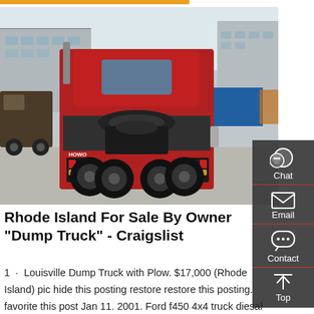[Figure (photo): Rear view of a red HOWO tractor truck in a commercial yard with other trucks and blue shipping containers in the background.]
Rhode Island For Sale By Owner "Dump Truck" - Craigslist
1  ·  Louisville Dump Truck with Plow. $17,000 (Rhode Island) pic hide this posting restore restore this posting. favorite this post Jan 11. 2001. Ford f450 4x4 truck diesal 7.3 turbo auto